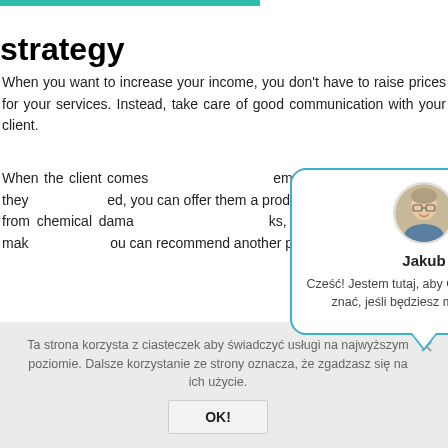strategy
When you want to increase your income, you don't have to raise prices for your services. Instead, take care of good communication with your client.
When the client comes [obscured] em an additional service. If they [obscured] ed, you can offer them a produc[obscured] t their hair from chemical dama[obscured] ks, and encourage them to mak[obscured] ou can recommend another pr[obscured] itioner,
[Figure (screenshot): Chat popup with avatar of person named Jakub, with message in Polish: Cześć! Jestem tutaj, aby Ci pomóc. Daj mi znać, jeśli będziesz mieć pytania.]
Ta strona korzysta z ciasteczek aby świadczyć usługi na najwyższym poziomie. Dalsze korzystanie ze strony oznacza, że zgadzasz się na ich użycie.
OK!